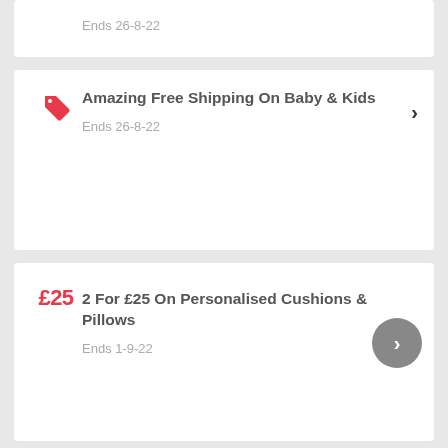Ends 26-8-22
Amazing Free Shipping On Baby & Kids
Ends 26-8-22
2 For £25 On Personalised Cushions & Pillows
Ends 1-9-22